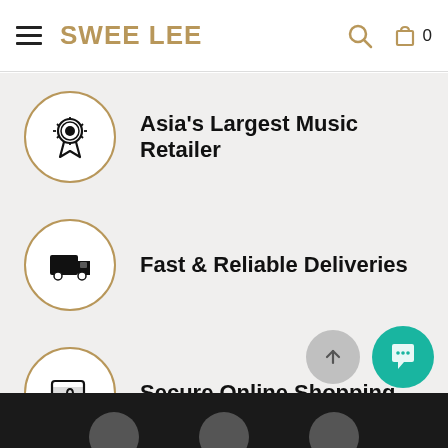SWEE LEE
Asia's Largest Music Retailer
Fast & Reliable Deliveries
Secure Online Shopping
Tax Included